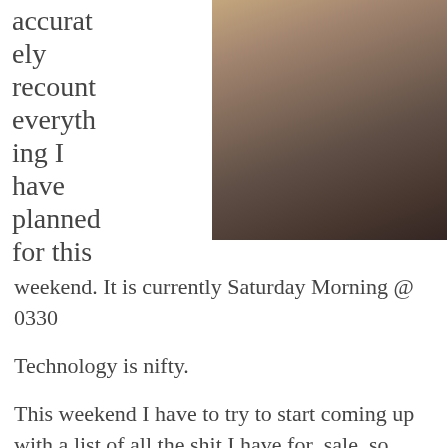accurately recount everything I have planned for this
[Figure (photo): Photo of a person in costume holding a bat, wearing fishnet stockings and a studded belt]
weekend. It is currently Saturday Morning @ 0330
Technology is nifty.
This weekend I have to try to start coming up with a list of all the shit I have for  sale, so seriously, if you want a pool table or a bed or a nice dresser and chest of drawers, TV, couple XBOX 360's with games, hit me up.